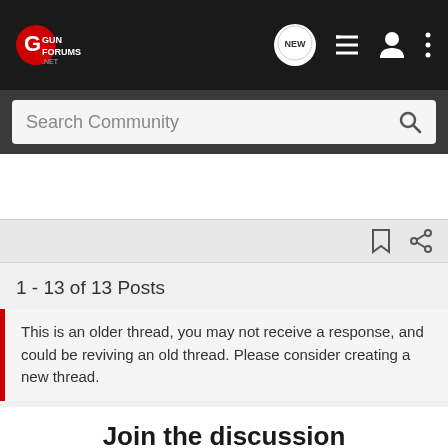[Figure (screenshot): GunForums.net logo in red and white on dark background navigation bar]
Search Community
1 - 13 of 13 Posts
This is an older thread, you may not receive a response, and could be reviving an old thread. Please consider creating a new thread.
Join the discussion
[Figure (photo): Franklin Armory advertisement banner showing a person shooting a rifle with BFS (Binary Firing System) and Franklin Armory logos]